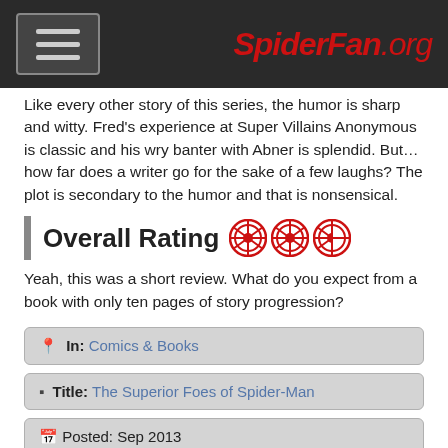SpiderFan.org
Like every other story of this series, the humor is sharp and witty. Fred's experience at Super Villains Anonymous is classic and his wry banter with Abner is splendid. But… how far does a writer go for the sake of a few laughs? The plot is secondary to the humor and that is nonsensical.
Overall Rating [spider icons x2.5]
Yeah, this was a short review. What do you expect from a book with only ten pages of story progression?
| In: | Comics & Books |
| Title: | The Superior Foes of Spider-Man |
| Posted: | Sep 2013 | Staff: | Cody Wilson (E-Mail) |